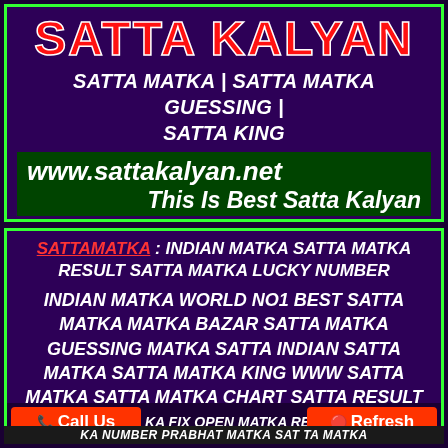SATTA KALYAN
SATTA MATKA | SATTA MATKA GUESSING | SATTA KING
www.sattakalyan.net
This Is Best Satta Kalyan
SATTAMATKA : INDIAN MATKA SATTA MATKA RESULT SATTA MATKA LUCKY NUMBER
INDIAN MATKA WORLD NO1 BEST SATTA MATKA MATKA BAZAR SATTA MATKA GUESSING MATKA SATTA INDIAN SATTA MATKA SATTA MATKA KING WWW SATTA MATKA SATTA MATKA CHART SATTA RESULT MATKA CHART MATKA GAME MATKA PARIVAR TODAY MATKA NUMBER SATTA MATKA TIPS MATKA TIPS FIX MATKA MATKA TIPS TODAY ONLINE ALL SATTA MATKA RESULT SATTA MATKA BAZAR MATKA NUMBER
KA FIX OPEN MATKA RESULT LIVE
KA NUMBER PRABHAT MATKA SATTA MATKA